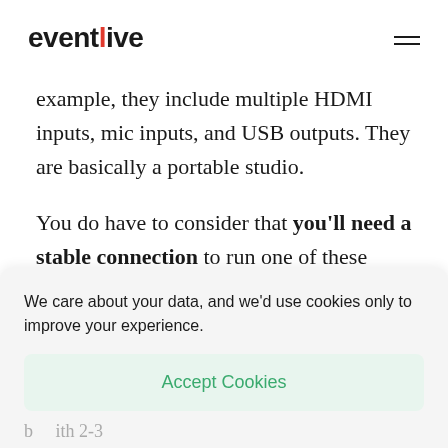eventlive
example, they include multiple HDMI inputs, mic inputs, and USB outputs. They are basically a portable studio.
You do have to consider that you'll need a stable connection to run one of these solutions.
We care about your data, and we'd use cookies only to improve your experience.
Accept Cookies
…with 2-3 …